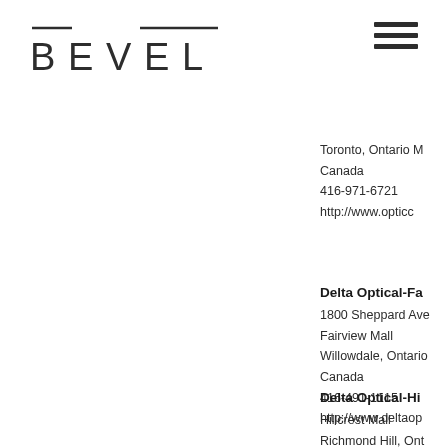[Figure (logo): BEVEL logo with decorative lines above letters B and L, in dark gray]
[Figure (other): Hamburger menu icon with three horizontal lines]
Toronto, Ontario M
Canada
416-971-6721
http://www.opticc
Delta Optical-Fa
1800 Sheppard Ave
Fairview Mall
Willowdale, Ontario
Canada
416-491-1115
http://www.deltaop
Delta Optical-Hi
Hillcrest Mall
Richmond Hill, Ont